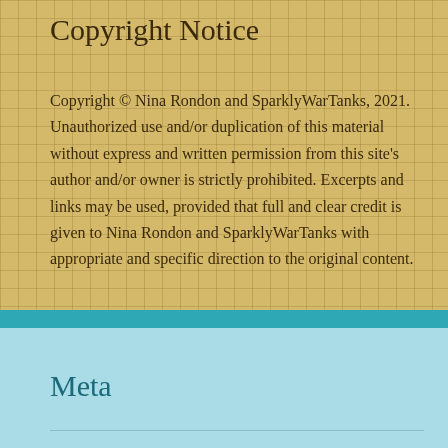Copyright Notice
Copyright © Nina Rondon and SparklyWarTanks, 2021. Unauthorized use and/or duplication of this material without express and written permission from this site's author and/or owner is strictly prohibited. Excerpts and links may be used, provided that full and clear credit is given to Nina Rondon and SparklyWarTanks with appropriate and specific direction to the original content.
Meta